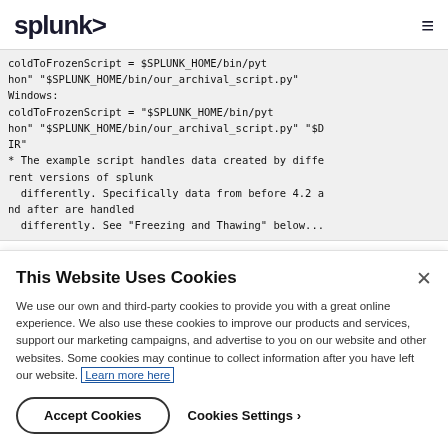splunk>
coldToFrozenScript = $SPLUNK_HOME/bin/python "$SPLUNK_HOME/bin/our_archival_script.py"
    Windows:
        coldToFrozenScript = "$SPLUNK_HOME/bin/python" "$SPLUNK_HOME/bin/our_archival_script.py" "$DIR"
* The example script handles data created by different versions of splunk
  differently. Specifically data from before 4.2 and after are handled
  differently. See "Freezing and Thawing" below...
This Website Uses Cookies
We use our own and third-party cookies to provide you with a great online experience. We also use these cookies to improve our products and services, support our marketing campaigns, and advertise to you on our website and other websites. Some cookies may continue to collect information after you have left our website. Learn more here
Accept Cookies
Cookies Settings ›